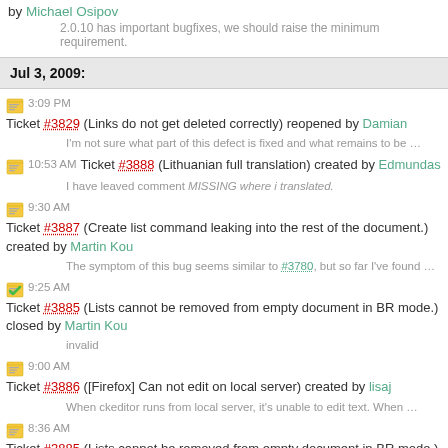by Michael Osipov
2.0.10 has important bugfixes, we should raise the minimum requirement.
Jul 3, 2009:
3:09 PM Ticket #3829 (Links do not get deleted correctly) reopened by Damian
I'm not sure what part of this defect is fixed and what remains to be …
10:53 AM Ticket #3888 (Lithuanian full translation) created by Edmundas
I have leaved comment MISSING where i translated.
9:30 AM Ticket #3887 (Create list command leaking into the rest of the document.) created by Martin Kou
The symptom of this bug seems similar to #3780, but so far I've found …
9:25 AM Ticket #3885 (Lists cannot be removed from empty document in BR mode.) closed by Martin Kou
invalid
9:00 AM Ticket #3886 ([Firefox] Can not edit on local server) created by lisaj
When ckeditor runs from local server, it's unable to edit text. When …
8:36 AM Ticket #3885 (Lists cannot be removed from empty document in BR mode.) created by Martin Kou
To reproduce: 1. Open replacebyclass.html in Firefox. 2. Press …